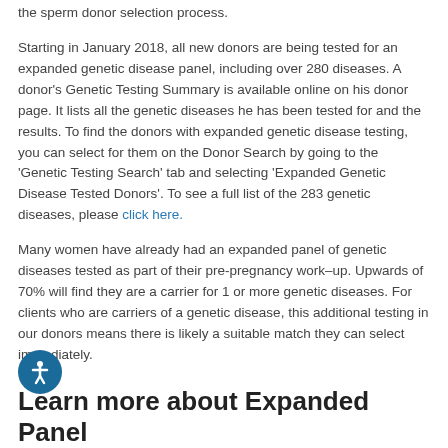the sperm donor selection process.
Starting in January 2018, all new donors are being tested for an expanded genetic disease panel, including over 280 diseases. A donor's Genetic Testing Summary is available online on his donor page. It lists all the genetic diseases he has been tested for and the results. To find the donors with expanded genetic disease testing, you can select for them on the Donor Search by going to the 'Genetic Testing Search' tab and selecting 'Expanded Genetic Disease Tested Donors'. To see a full list of the 283 genetic diseases, please click here.
Many women have already had an expanded panel of genetic diseases tested as part of their pre-pregnancy work–up. Upwards of 70% will find they are a carrier for 1 or more genetic diseases. For clients who are carriers of a genetic disease, this additional testing in our donors means there is likely a suitable match they can select immediately.
Learn more about Expanded Panel